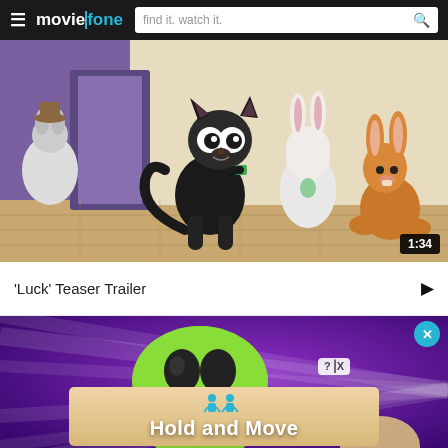moviefone — find it. watch it.
[Figure (screenshot): Animated film still from 'Luck' showing a black cat and two rabbits in an indoor setting. A timer badge shows '1:34' in the bottom right.]
'Luck' Teaser Trailer ▶
[Figure (screenshot): Advertisement banner showing an animated green alien character on a purple background with rays, overlaid with an ad panel reading 'Hold and Move' with person icons and a ?|X close button. A cyan X circle appears in the top right.]